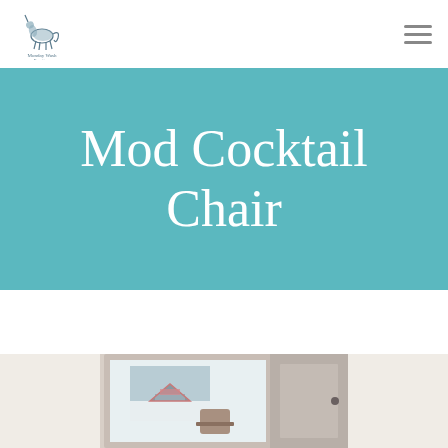[Figure (logo): Monday Wash Furniture logo with horse/unicorn illustration and brand name text]
Mod Cocktail Chair
[Figure (photo): Photograph of a vintage mod cocktail chair visible in a mirror reflection, showing a room interior with winter scene artwork on wall]